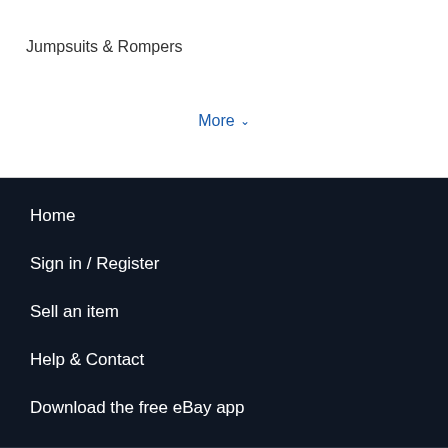Jumpsuits & Rompers
More ∨
Home
Sign in / Register
Sell an item
Help & Contact
Download the free eBay app
eCI Licenses